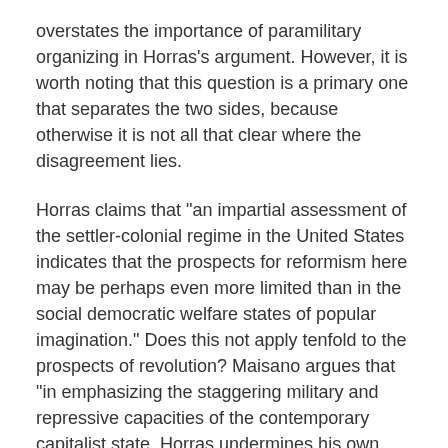overstates the importance of paramilitary organizing in Horras's argument. However, it is worth noting that this question is a primary one that separates the two sides, because otherwise it is not all that clear where the disagreement lies.
Horras claims that "an impartial assessment of the settler-colonial regime in the United States indicates that the prospects for reformism here may be perhaps even more limited than in the social democratic welfare states of popular imagination." Does this not apply tenfold to the prospects of revolution? Maisano argues that "in emphasizing the staggering military and repressive capacities of the contemporary capitalist state, Horras undermines his own case for arming up." This is absolutely true. Anyone serious about building armed forces has to confront the sheer power of the policing